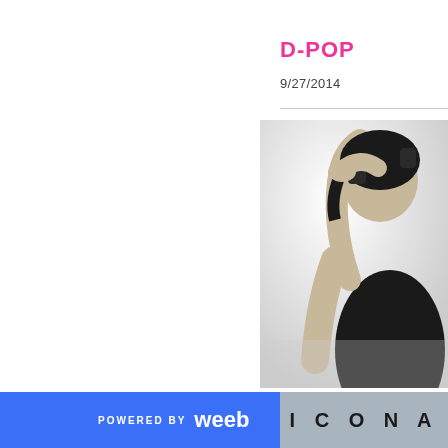D-POP
9/27/2014
[Figure (photo): Black and white photo of a woman in a black outfit holding headphones up to her head, upper body visible, high fashion style, cropped at right edge of page]
POWERED BY weeb ICONA